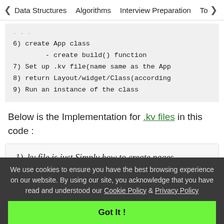< Data Structures   Algorithms   Interview Preparation   To>
6)  create App class
        - create build() function
7)  Set up .kv file(name same as the App
8)  return Layout/widget/Class(according
9)  Run an instance of the class
Below is the Implementation for .kv files in this code :
1). kv file is just Simply how to create pages
We use cookies to ensure you have the best browsing experience on our website. By using our site, you acknowledge that you have read and understood our Cookie Policy & Privacy Policy
Got It !